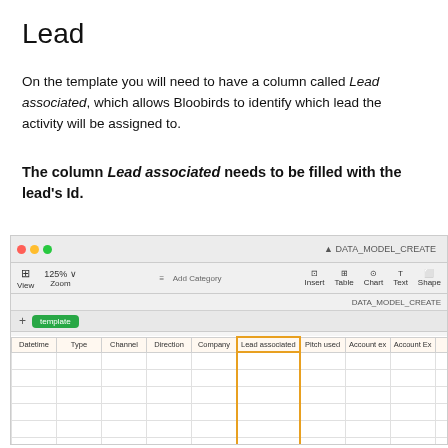Lead
On the template you will need to have a column called Lead associated, which allows Bloobirds to identify which lead the activity will be assigned to.
The column Lead associated needs to be filled with the lead's Id.
[Figure (screenshot): Screenshot of a spreadsheet application (Numbers on Mac) showing a template tab with columns: Datetime, Type, Channel, Direction, Company, Lead associated (highlighted with orange border), Pitch used, Account ex, Account Ex, Inbox]